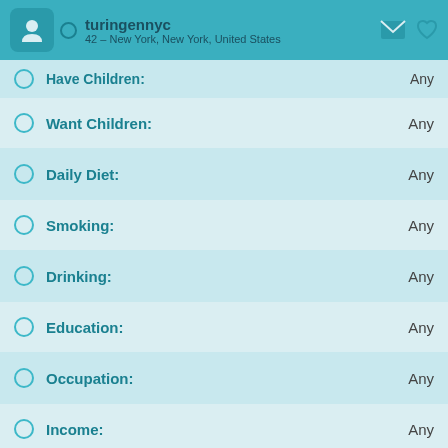turingennyc
42 – New York, New York, United States
Have Children: Any
Want Children: Any
Daily Diet: Any
Smoking: Any
Drinking: Any
Education: Any
Occupation: Any
Income: Any